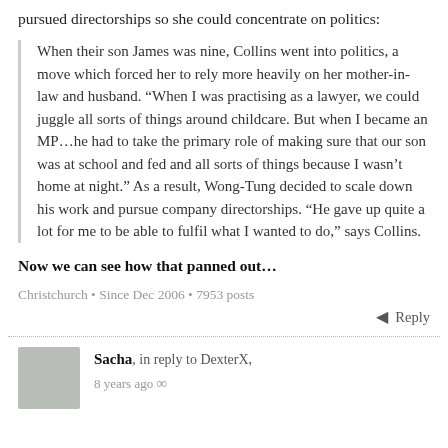pursued directorships so she could concentrate on politics:
When their son James was nine, Collins went into politics, a move which forced her to rely more heavily on her mother-in-law and husband. “When I was practising as a lawyer, we could juggle all sorts of things around childcare. But when I became an MP…he had to take the primary role of making sure that our son was at school and fed and all sorts of things because I wasn’t home at night.” As a result, Wong-Tung decided to scale down his work and pursue company directorships. “He gave up quite a lot for me to be able to fulfil what I wanted to do,” says Collins.
Now we can see how that panned out...
Christchurch • Since Dec 2006 • 7953 posts
Reply
Sacha, in reply to DexterX, 8 years ago ∞